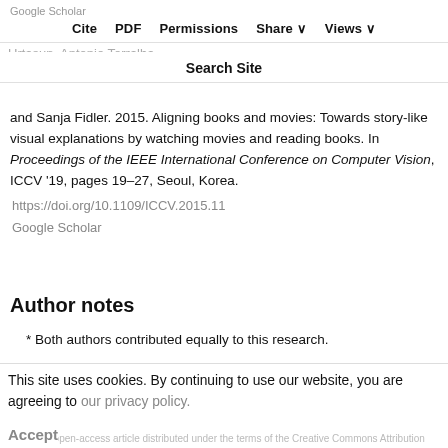Google Scholar | Cite PDF Permissions Share Views
Yukun Zhu, Ryan Kiros, Rich Zemel, Ruslan Salakhutdinov, Raquel Urtasun, Antonio Torralba, and Sanja Fidler. 2015. Aligning books and movies: Towards story-like visual explanations by watching movies and reading books. In Proceedings of the IEEE International Conference on Computer Vision, ICCV '19, pages 19–27, Seoul, Korea. https://doi.org/10.1109/ICCV.2015.11 Google Scholar
Author notes
* Both authors contributed equally to this research.
This site uses cookies. By continuing to use our website, you are agreeing to our privacy policy. Accept